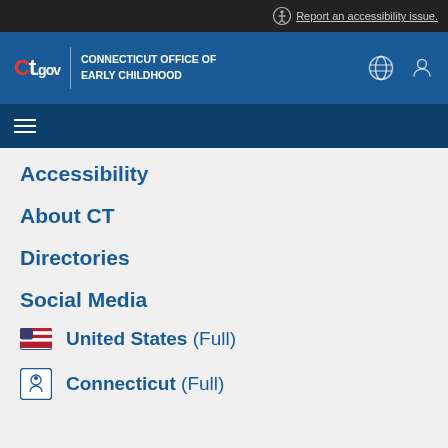Report an accessibility issue.
CT.gov | CONNECTICUT OFFICE OF EARLY CHILDHOOD
Accessibility
About CT
Directories
Social Media
United States (Full)
Connecticut (Full)